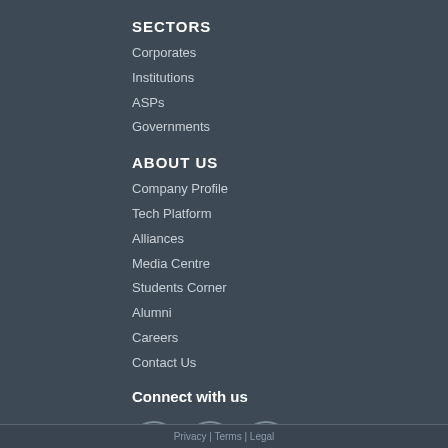SECTORS
Corporates
Institutions
ASPs
Governments
ABOUT US
Company Profile
Tech Platform
Alliances
Media Centre
Students Corner
Alumni
Careers
Contact Us
Connect with us
[Figure (illustration): Social media icons: Facebook, Twitter, Google+]
Privacy | Terms | Legal